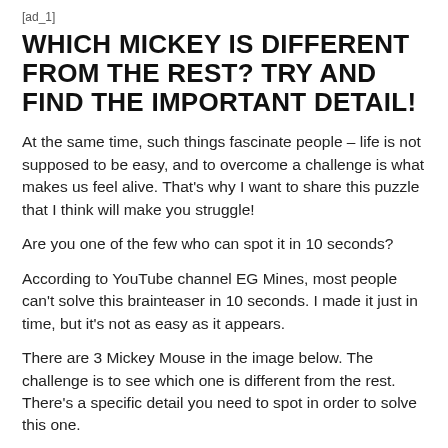[ad_1]
WHICH MICKEY IS DIFFERENT FROM THE REST? TRY AND FIND THE IMPORTANT DETAIL!
At the same time, such things fascinate people – life is not supposed to be easy, and to overcome a challenge is what makes us feel alive. That's why I want to share this puzzle that I think will make you struggle!
Are you one of the few who can spot it in 10 seconds?
According to YouTube channel EG Mines, most people can't solve this brainteaser in 10 seconds. I made it just in time, but it's not as easy as it appears.
There are 3 Mickey Mouse in the image below. The challenge is to see which one is different from the rest. There's a specific detail you need to spot in order to solve this one.
OK, you've got 10 seconds – which Mickey is different from the